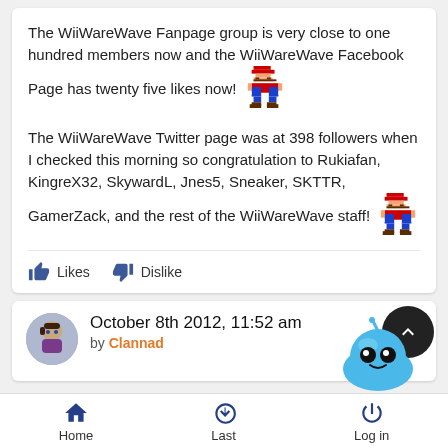The WiiWareWave Fanpage group is very close to one hundred members now and the WiiWareWave Facebook Page has twenty five likes now!
The WiiWareWave Twitter page was at 398 followers when I checked this morning so congratulation to Rukiafan, KingreX32, SkywardL, Jnes5, Sneaker, SKTTR, GamerZack, and the rest of the WiiWareWave staff!
Likes   Dislike
October 8th 2012, 11:52 am
by Clannad
Home   Last   Log in